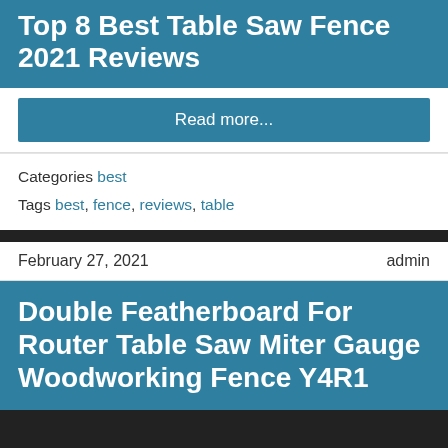Top 8 Best Table Saw Fence 2021 Reviews
Read more...
Categories best
Tags best, fence, reviews, table
February 27, 2021   admin
Double Featherboard For Router Table Saw Miter Gauge Woodworking Fence Y4R1